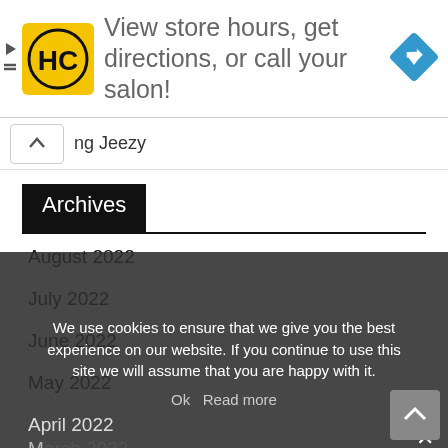[Figure (infographic): Ad banner: HC logo (yellow square with black HC letters), text 'View store hours, get directions, or call your salon!', blue diamond navigation icon on right]
ng Jeezy
Archives
August 2022
July 2022
June 2022
May 2022
April 2022
March 2022
February 2022
January 2022
We use cookies to ensure that we give you the best experience on our website. If you continue to use this site we will assume that you are happy with it.
Ok  Read more